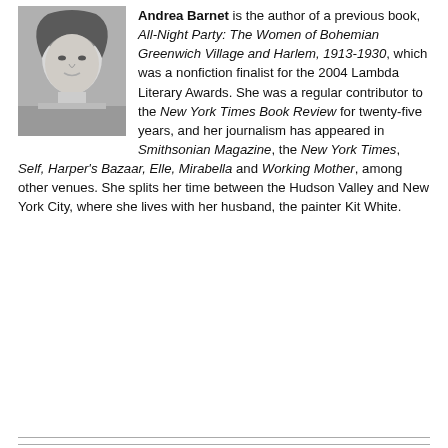[Figure (photo): Black and white headshot photo of Andrea Barnet, a woman with shoulder-length wavy hair.]
Andrea Barnet is the author of a previous book, All-Night Party: The Women of Bohemian Greenwich Village and Harlem, 1913-1930, which was a nonfiction finalist for the 2004 Lambda Literary Awards. She was a regular contributor to the New York Times Book Review for twenty-five years, and her journalism has appeared in Smithsonian Magazine, the New York Times, Self, Harper's Bazaar, Elle, Mirabella and Working Mother, among other venues. She splits her time between the Hudson Valley and New York City, where she lives with her husband, the painter Kit White.
Jobs | August 19
UPPAbaby
Rockland, MA
Senior Industrial Designer
Bella Fine Goods
Jackson, WY